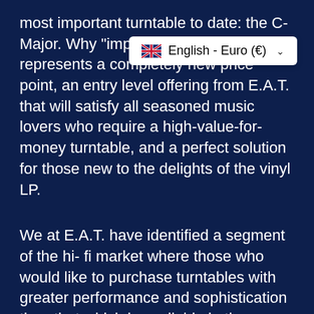most important turntable to date: the C-Major. Why "important"? Because it represents a completely new price point, an entry level offering from E.A.T. that will satisfy all seasoned music lovers who require a high-value-for-money turntable, and a perfect solution for those new to the delights of the vinyl LP.
[Figure (screenshot): Language/currency selector dropdown showing English flag icon with text 'English - Euro (€)' and a chevron/dropdown arrow]
We at E.A.T. have identified a segment of the hi-fi market where those who would like to purchase turntables with greater performance and sophistication than that which is available in the budget sector, but with a price point below the widely-acclaimed C-Sharp – our most successful turntable to date. And it is the